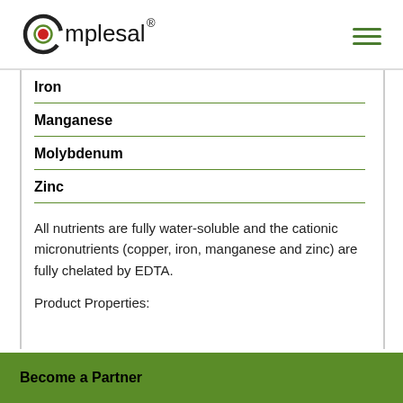[Figure (logo): Complesal logo with green C and red dot, registered trademark symbol]
Iron
Manganese
Molybdenum
Zinc
All nutrients are fully water-soluble and the cationic micronutrients (copper, iron, manganese and zinc) are fully chelated by EDTA.
Product Properties:
Become a Partner